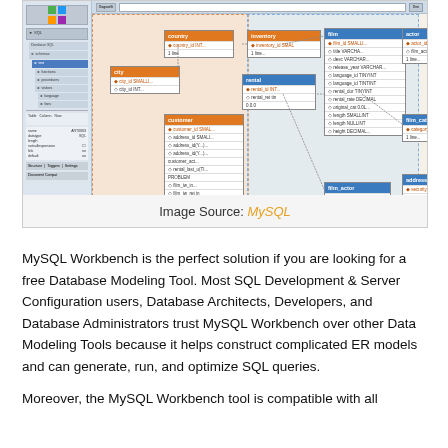[Figure (screenshot): MySQL Workbench screenshot showing an Entity-Relationship (ER) diagram with multiple database tables connected by relationships, including an orange-themed diagram area with sidebar navigation panel on the left.]
Image Source: MySQL
MySQL Workbench is the perfect solution if you are looking for a free Database Modeling Tool. Most SQL Development & Server Configuration users, Database Architects, Developers, and Database Administrators trust MySQL Workbench over other Data Modeling Tools because it helps construct complicated ER models and can generate, run, and optimize SQL queries.
Moreover, the MySQL Workbench tool is compatible with all